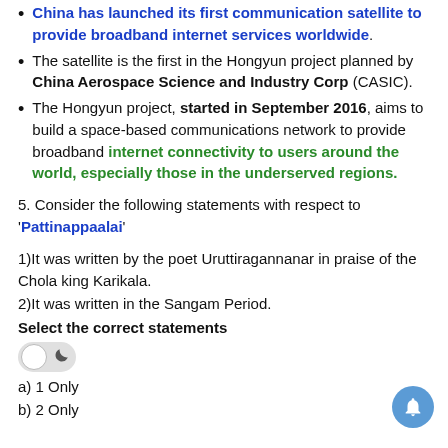China has launched its first communication satellite to provide broadband internet services worldwide.
The satellite is the first in the Hongyun project planned by China Aerospace Science and Industry Corp (CASIC).
The Hongyun project, started in September 2016, aims to build a space-based communications network to provide broadband internet connectivity to users around the world, especially those in the underserved regions.
5. Consider the following statements with respect to 'Pattinappaalai'
1)It was written by the poet Uruttiragannanar in praise of the Chola king Karikala.
2)It was written in the Sangam Period.
Select the correct statements
a) 1 Only
b) 2 Only